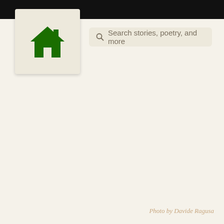[Figure (screenshot): Black top navigation bar spanning the full width of the page]
[Figure (logo): Home icon button - a green house/home symbol on a beige/cream rounded square background]
Search stories, poetry, and more
Photo by Davide Ragusa